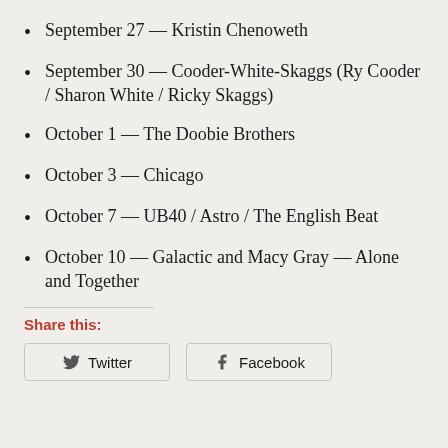September 27 — Kristin Chenoweth
September 30 — Cooder-White-Skaggs (Ry Cooder / Sharon White / Ricky Skaggs)
October 1 — The Doobie Brothers
October 3 — Chicago
October 7 — UB40 / Astro / The English Beat
October 10 — Galactic and Macy Gray — Alone and Together
Share this: